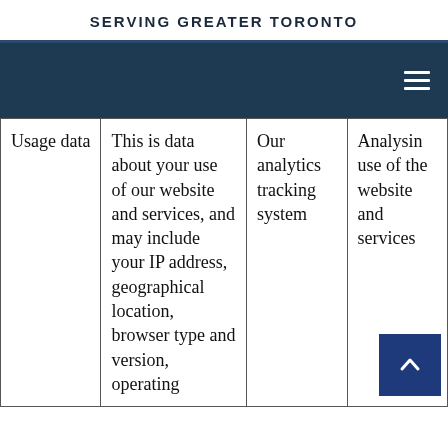SERVING GREATER TORONTO
|  | Description | Source | Purpose |
| --- | --- | --- | --- |
| Usage data | This is data about your use of our website and services, and may include your IP address, geographical location, browser type and version, operating... | Our analytics tracking system | Analysing use of the website and services |